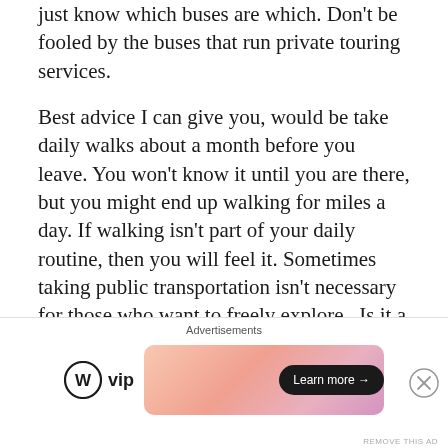just know which buses are which. Don't be fooled by the buses that run private touring services.
Best advice I can give you, would be take daily walks about a month before you leave. You won't know it until you are there, but you might end up walking for miles a day. If walking isn't part of your daily routine, then you will feel it. Sometimes taking public transportation isn't necessary for those who want to freely explore.  Is it a language barrier hinders you from taking a cab? No
[Figure (other): Advertisement bar at the bottom containing WordPress VIP logo and a colorful gradient ad banner with 'Learn more' button]